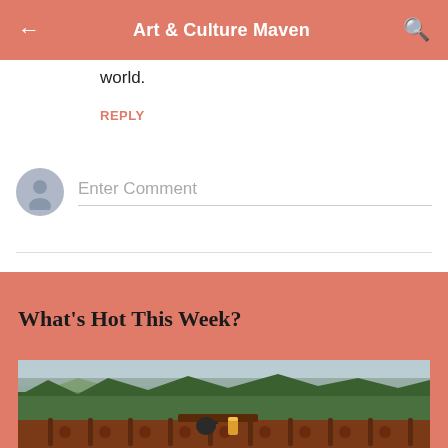Art & Culture Maven
world.
REPLY
Enter Comment
What's Hot This Week?
[Figure (photo): Outdoor landscape photo viewed from a wooden deck/railing with lush green forested hills and mountains in the background under a cloudy sky, with items on the railing table including what appears to be a teapot and a drink.]